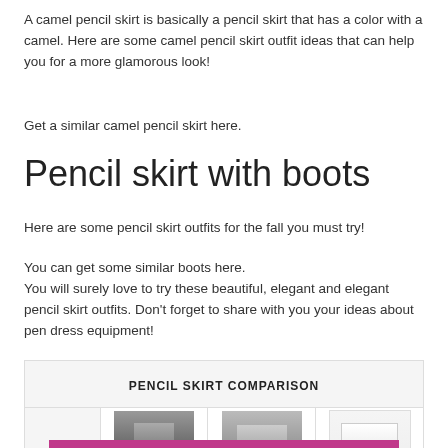A camel pencil skirt is basically a pencil skirt that has a color with a camel. Here are some camel pencil skirt outfit ideas that can help you for a more glamorous look!
Get a similar camel pencil skirt here.
Pencil skirt with boots
Here are some pencil skirt outfits for the fall you must try!
You can get some similar boots here.
You will surely love to try these beautiful, elegant and elegant pencil skirt outfits. Don't forget to share with you your ideas about pen dress equipment!
| PENCIL SKIRT COMPARISON |
| --- |
| (image) | (image) | (image) | (image) |